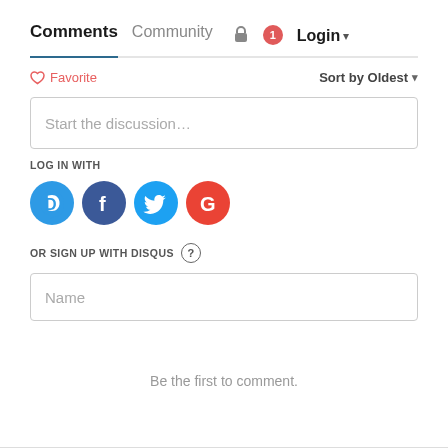Comments  Community  [lock]  [1]  Login ▾
♡ Favorite
Sort by Oldest ▾
Start the discussion…
LOG IN WITH
[Figure (logo): Social login icons: Disqus (blue speech bubble with D), Facebook (dark blue circle with f), Twitter (light blue circle with bird), Google (red circle with G)]
OR SIGN UP WITH DISQUS ?
Name
Be the first to comment.